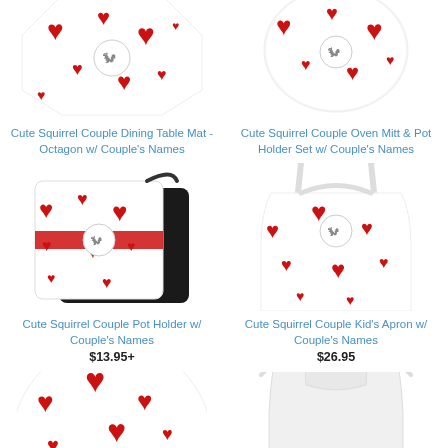[Figure (photo): Cute squirrel couple dining table mat octagon with red heart pattern, top portion cropped]
Cute Squirrel Couple Dining Table Mat - Octagon w/ Couple's Names
[Figure (photo): Cute squirrel couple oven mitt and pot holder set with red heart pattern, top portion cropped]
Cute Squirrel Couple Oven Mitt & Pot Holder Set w/ Couple's Names
[Figure (photo): Cute squirrel couple pot holder with red hearts pattern on white background with black backing]
Cute Squirrel Couple Pot Holder w/ Couple's Names
$13.95+
[Figure (photo): Cute squirrel couple kid's apron with red hearts pattern on white background]
Cute Squirrel Couple Kid's Apron w/ Couple's Names
$26.95
[Figure (photo): Round table mat with red hearts pattern, bottom portion of page partially cropped]
[Figure (photo): Apron shape with gray/white pattern, bottom portion of page partially cropped]